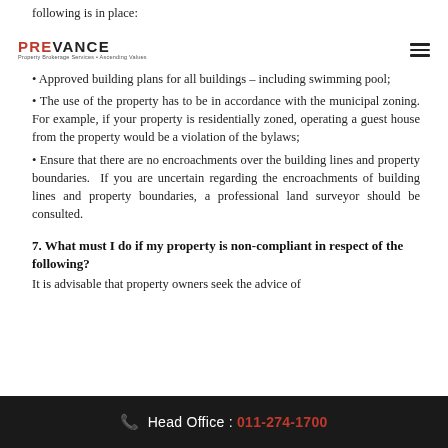following is in place:
[Figure (logo): Prevance logo with red PRE and black VANCE text, subtitle reading Property Brokerage Services • Ascending Values]
• Approved building plans for all buildings – including swimming pool;
• The use of the property has to be in accordance with the municipal zoning. For example, if your property is residentially zoned, operating a guest house from the property would be a violation of the bylaws;
• Ensure that there are no encroachments over the building lines and property boundaries.  If you are uncertain regarding the encroachments of building lines and property boundaries, a professional land surveyor should be consulted.
7. What must I do if my property is non-compliant in respect of the following?
It is advisable that property owners seek the advice of
Head Office : 011-274-1700